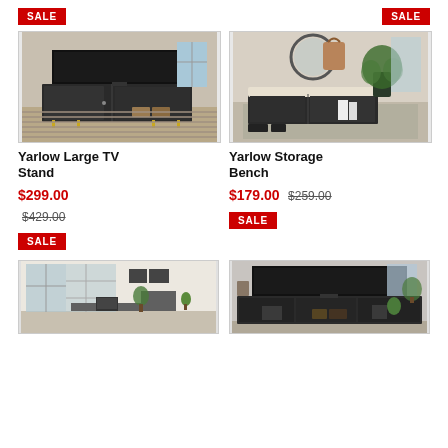[Figure (other): SALE badge top left]
[Figure (other): SALE badge top right]
[Figure (photo): Yarlow Large TV Stand product photo - dark wood TV stand with gold legs and TV on top]
[Figure (photo): Yarlow Storage Bench product photo - dark wood bench with cushion, mirror and plant in background]
Yarlow Large TV Stand
$299.00 $429.00 SALE
Yarlow Storage Bench
$179.00 $259.00 SALE
[Figure (photo): Bottom left product photo - L-shaped desk in room with plants and windows]
[Figure (photo): Bottom right product photo - dark TV stand with TV on top]